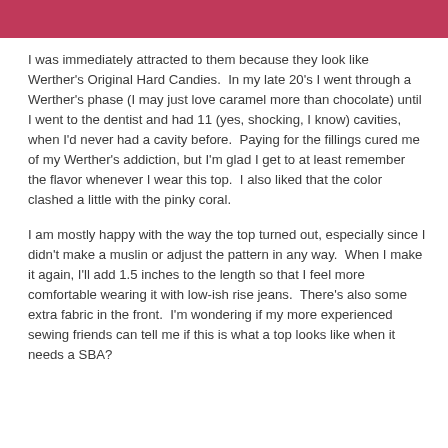[Figure (photo): Pink/crimson fabric or garment close-up at the top of the page]
I was immediately attracted to them because they look like Werther's Original Hard Candies.  In my late 20's I went through a Werther's phase (I may just love caramel more than chocolate) until I went to the dentist and had 11 (yes, shocking, I know) cavities, when I'd never had a cavity before.  Paying for the fillings cured me of my Werther's addiction, but I'm glad I get to at least remember the flavor whenever I wear this top.  I also liked that the color clashed a little with the pinky coral.
I am mostly happy with the way the top turned out, especially since I didn't make a muslin or adjust the pattern in any way.  When I make it again, I'll add 1.5 inches to the length so that I feel more comfortable wearing it with low-ish rise jeans.  There's also some extra fabric in the front.  I'm wondering if my more experienced sewing friends can tell me if this is what a top looks like when it needs a SBA?